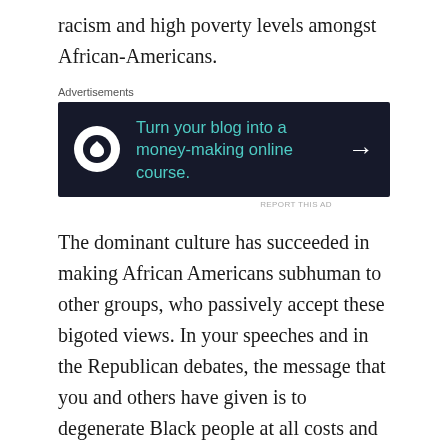racism and high poverty levels amongst African-Americans.
[Figure (other): Advertisement banner: 'Turn your blog into a money-making online course.' with a stylized tree icon and arrow on dark background.]
The dominant culture has succeeded in making African Americans subhuman to other groups, who passively accept these bigoted views. In your speeches and in the Republican debates, the message that you and others have given is to degenerate Black people at all costs and to keep poor working-class Whites in a constant tizzy about the so-called advantages given to them.
Mr. Gingrich, I feel sorry for you and wonder what you would do if Blacks did not exist in this country. Race and class was socially constructed for the advancement of